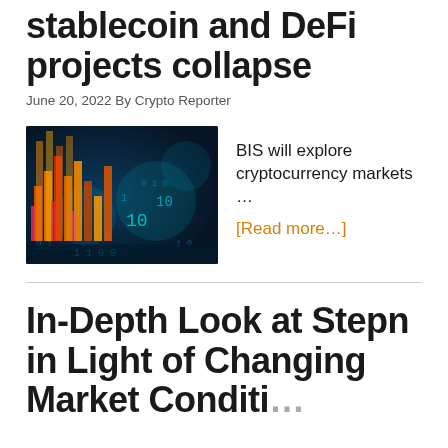stablecoin and DeFi projects collapse
June 20, 2022 By Crypto Reporter
[Figure (photo): Digital cryptocurrency market chart visualization with colorful bar charts, binary code, and glowing blue teal background]
BIS will explore cryptocurrency markets … [Read more...]
In-Depth Look at Stepn in Light of Changing Market Conditi…